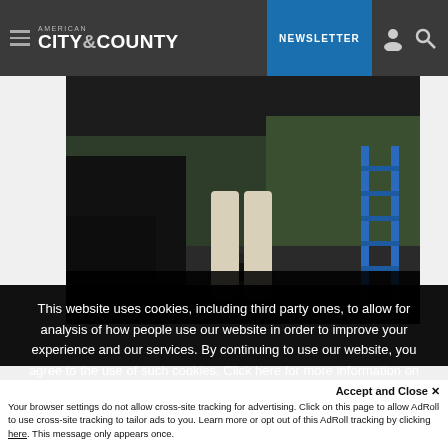AMERICAN CITY & COUNTY | NEWSLETTER
[Figure (photo): A person standing near a vehicle wheel and a blue ladder outdoors, partially visible from waist down, wearing light-colored pants.]
This website uses cookies, including third party ones, to allow for analysis of how people use our website in order to improve your experience and our services. By continuing to use our website, you agree to the use of such cookies. Click here for more information on our Cookie Policy and Privacy Policy.
Accept and Close ✕
Your browser settings do not allow cross-site tracking for advertising. Click on this page to allow AdRoll to use cross-site tracking to tailor ads to you. Learn more or opt out of this AdRoll tracking by clicking here. This message only appears once.